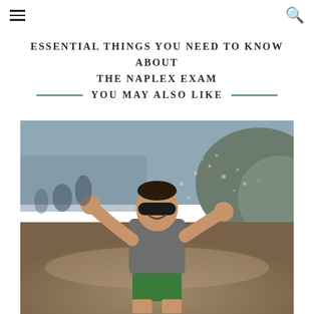≡ [menu icon]   [search icon]
ESSENTIAL THINGS YOU NEED TO KNOW ABOUT THE NAPLEX EXAM
YOU MAY ALSO LIKE
[Figure (photo): A young boy wearing sunglasses and a gray t-shirt with green shorts playing at a beach, throwing sand into the air with both hands, smiling. Other people visible in the blurred background.]